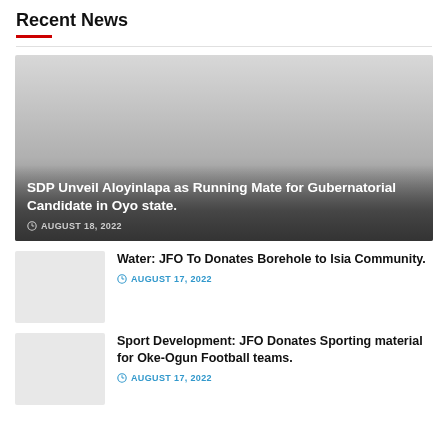Recent News
[Figure (photo): Featured news image placeholder with gradient overlay showing article about SDP unveiling Aloyinlapa as Running Mate]
SDP Unveil Aloyinlapa as Running Mate for Gubernatorial Candidate in Oyo state.
AUGUST 18, 2022
[Figure (photo): Small thumbnail image placeholder for Water borehole article]
Water: JFO To Donates Borehole to Isia Community.
AUGUST 17, 2022
[Figure (photo): Small thumbnail image placeholder for Sport Development article]
Sport Development: JFO Donates Sporting material for Oke-Ogun Football teams.
AUGUST 17, 2022